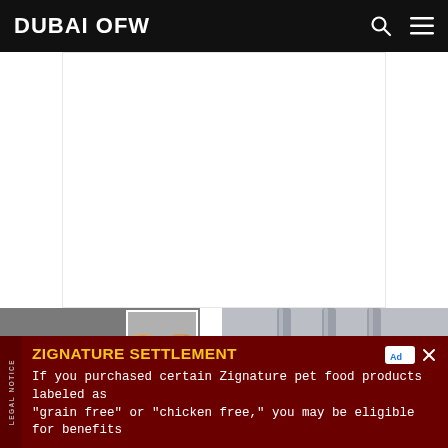DUBAI OFW
[Figure (photo): White advertisement space placeholder]
[Figure (photo): Person in grey hoodie bowing head, with inset of handcuffed wrists]
[Figure (photo): Hands gripping prison bars]
ZIGNATURE SETTLEMENT
If you purchased certain Zignature pet food products labeled as "grain free" or "chicken free," you may be eligible for benefits